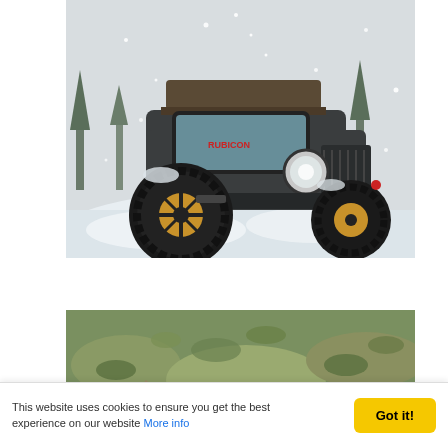[Figure (photo): A dark grey Jeep Wrangler Rubicon with rooftop tent and large off-road tires with gold/bronze rims, driving through heavy snow. Snow is flying around the vehicle. Snowy trees visible in background.]
[Figure (photo): Partial view of rocky and mossy off-road terrain with sandy/orange dirt trail visible. The top portion of an off-road scene.]
This website uses cookies to ensure you get the best experience on our website More info